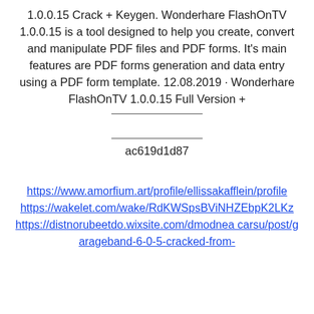1.0.0.15 Crack + Keygen. Wonderhare FlashOnTV 1.0.0.15 is a tool designed to help you create, convert and manipulate PDF files and PDF forms. It's main features are PDF forms generation and data entry using a PDF form template. 12.08.2019 · Wonderhare FlashOnTV 1.0.0.15 Full Version +
ac619d1d87
https://www.amorfium.art/profile/ellissakafflein/profile
https://wakelet.com/wake/RdKWSpsBViNHZEbpK2LKz
https://distnorubeetdo.wixsite.com/dmodnea carsu/post/garageband-6-0-5-cracked-from-